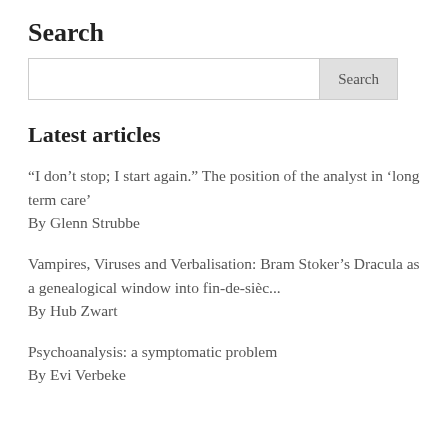Search
Latest articles
“I don’t stop; I start again.” The position of the analyst in ‘long term care’
By Glenn Strubbe
Vampires, Viruses and Verbalisation: Bram Stoker’s Dracula as a genealogical window into fin-de-sièc...
By Hub Zwart
Psychoanalysis: a symptomatic problem
By Evi Verbeke